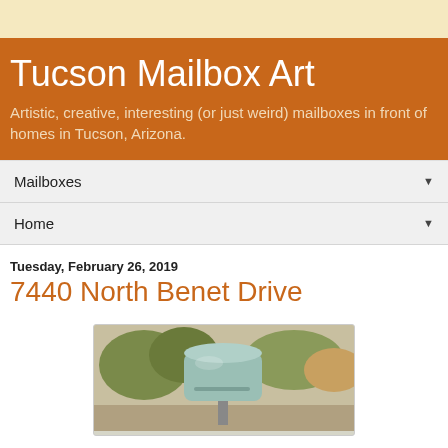Tucson Mailbox Art
Artistic, creative, interesting (or just weird) mailboxes in front of homes in Tucson, Arizona.
Mailboxes ▼
Home ▼
Tuesday, February 26, 2019
7440 North Benet Drive
[Figure (photo): Photo of a light blue/turquoise cylindrical mailbox on a post outdoors with trees and desert vegetation in background]